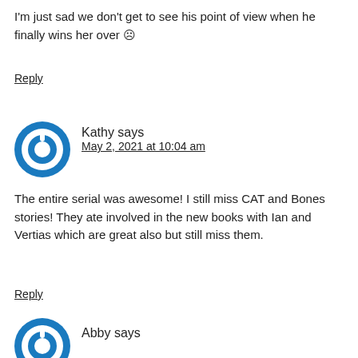I'm just sad we don't get to see his point of view when he finally wins her over ☹
Reply
[Figure (illustration): Blue circular power/user avatar icon for Kathy]
Kathy says
May 2, 2021 at 10:04 am
The entire serial was awesome! I still miss CAT and Bones stories! They ate involved in the new books with Ian and Vertias which are great also but still miss them.
Reply
[Figure (illustration): Blue circular power/user avatar icon for Abby]
Abby says